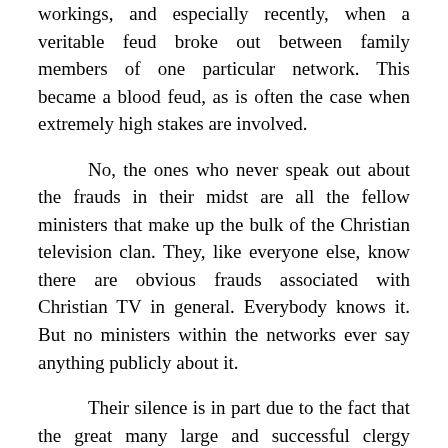workings, and especially recently, when a veritable feud broke out between family members of one particular network. This became a blood feud, as is often the case when extremely high stakes are involved.

No, the ones who never speak out about the frauds in their midst are all the fellow ministers that make up the bulk of the Christian television clan. They, like everyone else, know there are obvious frauds associated with Christian TV in general. Everybody knows it. But no ministers within the networks ever say anything publicly about it.

Their silence is in part due to the fact that the great many large and successful clergy groups in America, of which one comprises television ministers, have become effectively unionized. They have managed, by their unions